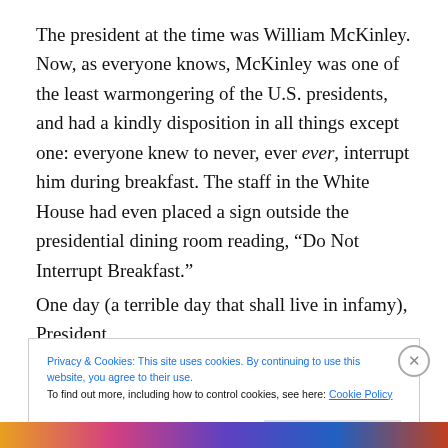The president at the time was William McKinley. Now, as everyone knows, McKinley was one of the least warmongering of the U.S. presidents, and had a kindly disposition in all things except one: everyone knew to never, ever ever, interrupt him during breakfast. The staff in the White House had even placed a sign outside the presidential dining room reading, “Do Not Interrupt Breakfast.”
One day (a terrible day that shall live in infamy), President
Privacy & Cookies: This site uses cookies. By continuing to use this website, you agree to their use.
To find out more, including how to control cookies, see here: Cookie Policy
Close and accept